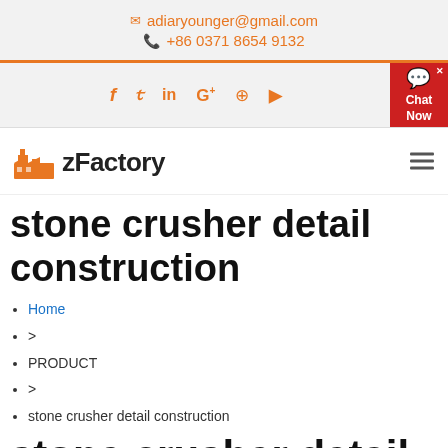adiaryounger@gmail.com  +86 0371 8654 9132
[Figure (infographic): Social media icons: Facebook, Twitter, LinkedIn, Google+, Pinterest, YouTube]
[Figure (logo): zFactory logo with orange factory building icon]
stone crusher detail construction
Home
>
PRODUCT
>
stone crusher detail construction
stone crusher detail